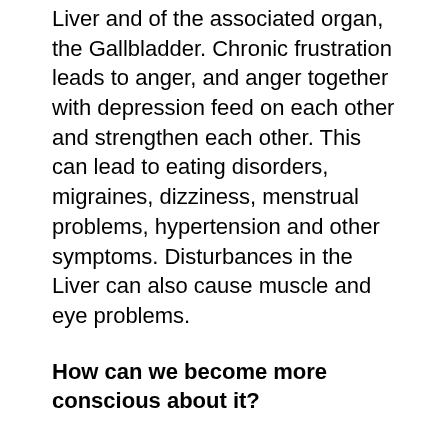Liver and of the associated organ, the Gallbladder. Chronic frustration leads to anger, and anger together with depression feed on each other and strengthen each other. This can lead to eating disorders, migraines, dizziness, menstrual problems, hypertension and other symptoms. Disturbances in the Liver can also cause muscle and eye problems.
How can we become more conscious about it?
Become aware and write your frustrations down on paper so that you can express them
Which situations disturb you?
What can you change and what not?
What do you feel and where in the body?